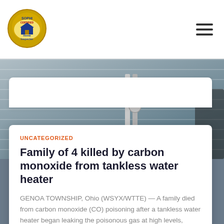[Figure (logo): SOPHI Certified Home Inspector circular gold badge logo]
SOPHI Certified Home Inspector — navigation header with hamburger menu
[Figure (photo): Exterior photo of a house showing white siding and utility pipes/meters on the wall, with a person visible at right edge]
UNCATEGORIZED
Family of 4 killed by carbon monoxide from tankless water heater
GENOA TOWNSHIP, Ohio (WSYX/WTTE) — A family died from carbon monoxide (CO) poisoning after a tankless water heater began leaking the poisonous gas at high levels, according to authorities. Police responded to the Reitter family home Read more...